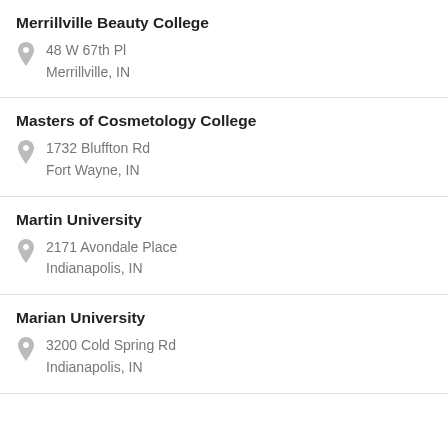Merrillville Beauty College
48 W 67th Pl
Merrillville, IN
Masters of Cosmetology College
1732 Bluffton Rd
Fort Wayne, IN
Martin University
2171 Avondale Place
Indianapolis, IN
Marian University
3200 Cold Spring Rd
Indianapolis, IN